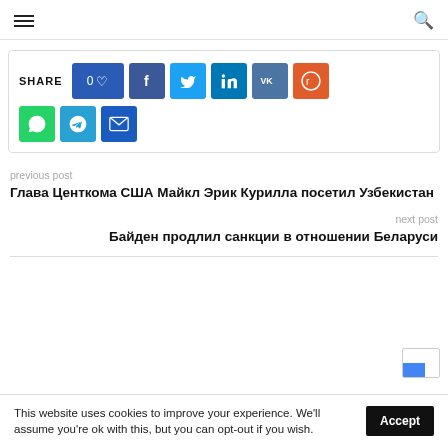≡  🔍
SHARE  0♡  f  t  in  vk  reddit  whatsapp  telegram  email
previous post
Глава Центкома США Майкл Эрик Курилла посетил Узбекистан
next post
Байден продлил санкции в отношении Беларуси
This website uses cookies to improve your experience. We'll assume you're ok with this, but you can opt-out if you wish.  Accept